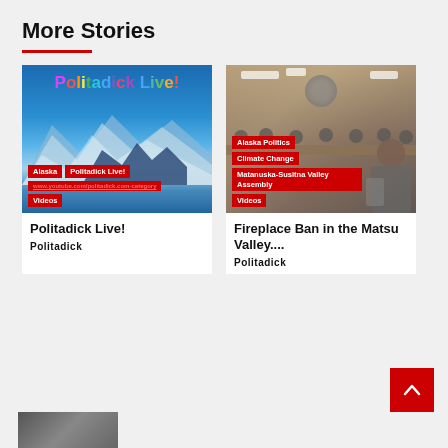More Stories
[Figure (photo): Politadick Live! thumbnail with colorful rainbow text over mountain/Alaska background with category tags: Alaska, Politadick Live!, Videos]
Politadick Live!
Politadick
[Figure (photo): Government meeting room photo with category tags: Alaska Politics, Climate Change, Matanuska-Susitna Valley Assembly, Videos]
Fireplace Ban in the Matsu Valley....
Politadick